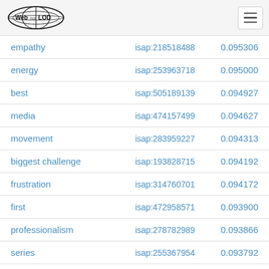Web isa LOD
| empathy | isap:218518488 | 0.095306 |
| energy | isap:253963718 | 0.095000 |
| best | isap:505189139 | 0.094927 |
| media | isap:474157499 | 0.094627 |
| movement | isap:283959227 | 0.094313 |
| biggest challenge | isap:193828715 | 0.094192 |
| frustration | isap:314760701 | 0.094172 |
| first | isap:472958571 | 0.093900 |
| professionalism | isap:278782989 | 0.093866 |
| series | isap:255367954 | 0.093792 |
| combination | isap:315336588 | 0.093650 |